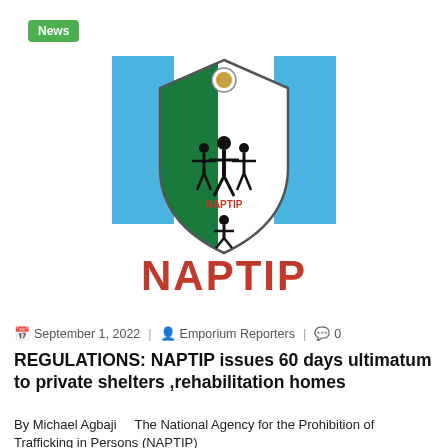News
[Figure (logo): NAPTIP (National Agency for the Prohibition of Trafficking in Persons) logo featuring a shield with green and white halves, figures of people, and two blue rectangular bars on either side, with bold red text 'NAPTIP' below.]
September 1, 2022  Emporium Reporters  0
REGULATIONS: NAPTIP issues 60 days ultimatum to private shelters ,rehabilitation homes
By Michael Agbaji    The National Agency for the Prohibition of Trafficking in Persons (NAPTIP)